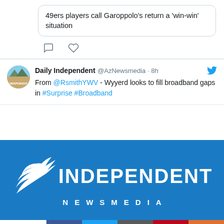49ers players call Garoppolo's return a 'win-win' situation
Daily Independent @AzNewsmedia · 8h
From @RsmithYWV - Wyyerd looks to fill broadband gaps in #Surprise #Broadband
[Figure (logo): Independent Newsmedia logo with white bird and text on blue background]
0 SHARES